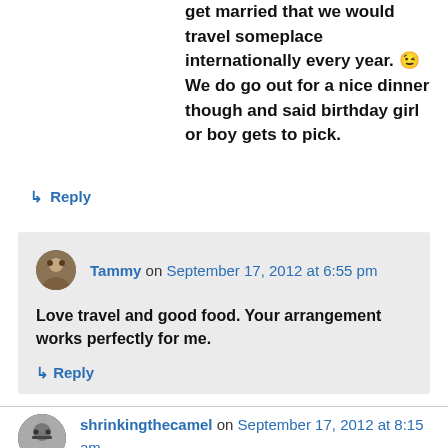get married that we would travel someplace internationally every year. 😉 We do go out for a nice dinner though and said birthday girl or boy gets to pick.
↳ Reply
Tammy on September 17, 2012 at 6:55 pm
Love travel and good food. Your arrangement works perfectly for me.
↳ Reply
shrinkingthecamel on September 17, 2012 at 8:15 am